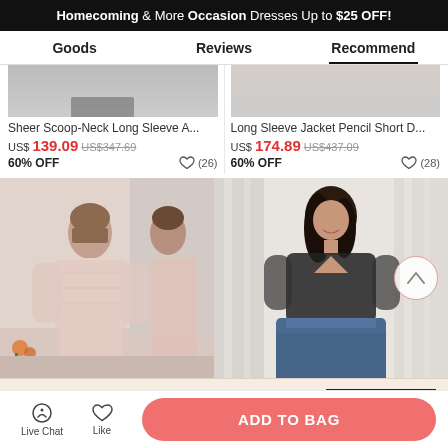Homecoming & More Occasion Dresses Up to $25 OFF!
Goods | Reviews | Recommend
Sheer Scoop-Neck Long Sleeve A...
US$139.09  US$347.69  60% OFF  ♡ (26)
Long Sleeve Jacket Pencil Short D...
US$174.89  US$437.09  60% OFF  ♡ (28)
[Figure (photo): Woman wearing a sheer lace long-sleeve light pink/blush dress, shown front and back in mirror reflection]
[Figure (photo): Model wearing a navy blue dress with lace 3/4 sleeve top overlay, smiling in front of white curtains]
Get $5 off for your first order!  CLAIM NOW
Live Chat  Like  ADD TO BAG